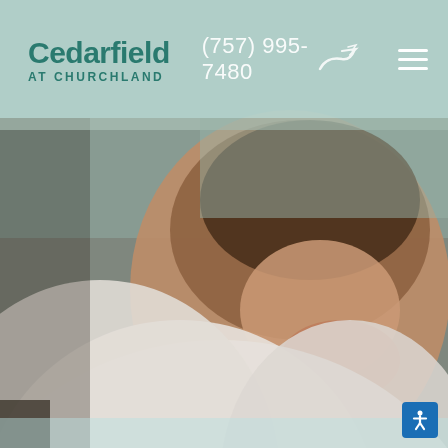[Figure (photo): Chef in white uniform leaning over a white plate with food, plating a dish, close-up shot from above and to the side]
Cedarfield AT CHURCHLAND  (757) 995-7480